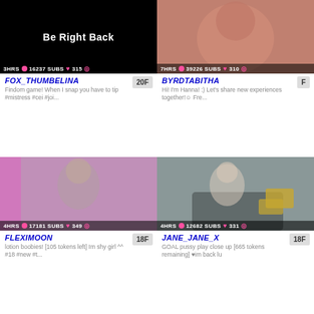[Figure (screenshot): Webcam stream showing 'Be Right Back' black screen]
FOX_THUMBELINA
20F
Findom game! When I snap you have to tip #mistress #cei #joi...
[Figure (screenshot): Webcam stream showing a person]
BYRDTABITHA
F
Hi! I'm Hanna! :) Let's share new experiences together!☺ Fre...
[Figure (screenshot): Webcam stream showing a person with long hair]
FLEXIMOON
18F
lotion boobies! [105 tokens left] Im shy girl ^^ #18 #new #t...
[Figure (screenshot): Webcam stream showing a blonde person on a couch]
JANE_JANE_X
18F
GOAL pussy play close up [665 tokens remaining] ♥im back lu